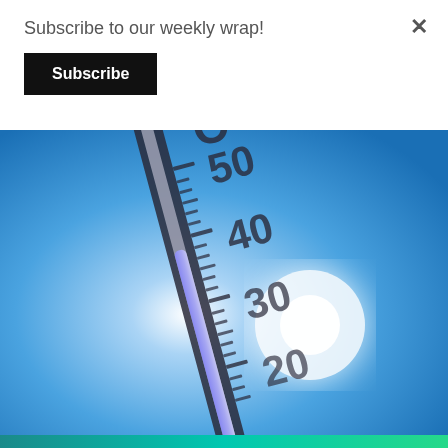Subscribe to our weekly wrap!
Subscribe
[Figure (photo): Close-up of a large thermometer against a bright blue sky with sunlight glare, showing degree markings at 20, 30, 40, and 50 on a Celsius scale, with a blue mercury column visible.]